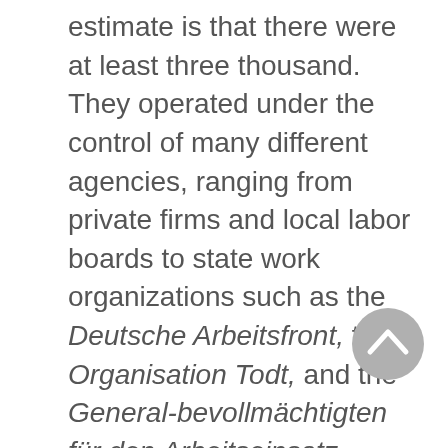estimate is that there were at least three thousand. They operated under the control of many different agencies, ranging from private firms and local labor boards to state work organizations such as the Deutsche Arbeitsfront, the Organisation Todt, and the General-bevollmächtigten für den Arbeitseinsatz.
[Figure (other): A circular grey scroll-to-top button with an upward-pointing chevron arrow]